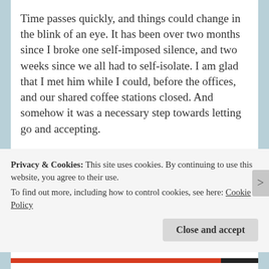Time passes quickly, and things could change in the blink of an eye. It has been over two months since I broke one self-imposed silence, and two weeks since we all had to self-isolate. I am glad that I met him while I could, before the offices, and our shared coffee stations closed. And somehow it was a necessary step towards letting go and accepting.
It happened on a Monday, my second week at the office after returning from holiday. I went through
Privacy & Cookies: This site uses cookies. By continuing to use this website, you agree to their use.
To find out more, including how to control cookies, see here: Cookie Policy